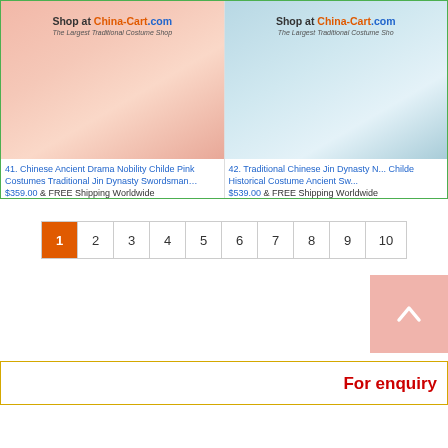[Figure (photo): Chinese Ancient Drama Nobility Childe Pink Costumes - product photo with Shop at China-Cart.com watermark]
41. Chinese Ancient Drama Nobility Childe Pink Costumes Traditional Jin Dynasty Swordsman…
$359.00 & FREE Shipping Worldwide
[Figure (photo): Traditional Chinese Jin Dynasty Nobility Childe Historical Costume - product photo with Shop at China-Cart.com watermark]
42. Traditional Chinese Jin Dynasty N... Childe Historical Costume Ancient Sw...
$539.00 & FREE Shipping Worldwide
1 2 3 4 5 6 7 8 9 10 (pagination)
[Figure (other): Back to top button - pink square with upward arrow]
For enquiry